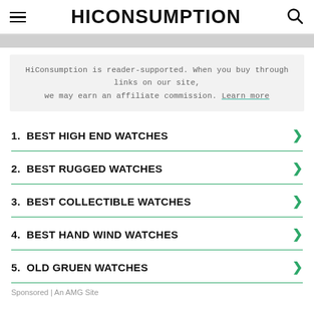HICONSUMPTION
HiConsumption is reader-supported. When you buy through links on our site, we may earn an affiliate commission. Learn more
1. BEST HIGH END WATCHES
2. BEST RUGGED WATCHES
3. BEST COLLECTIBLE WATCHES
4. BEST HAND WIND WATCHES
5. OLD GRUEN WATCHES
Sponsored | An AMG Site